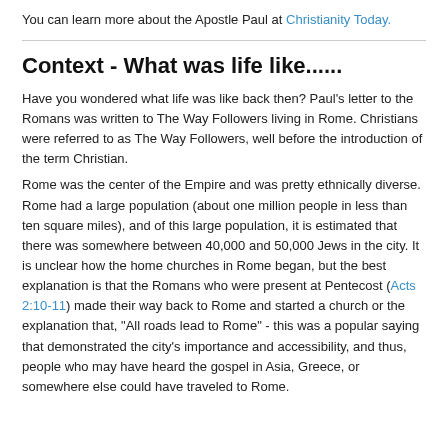You can learn more about the Apostle Paul at Christianity Today.
Context - What was life like......
Have you wondered what life was like back then? Paul's letter to the Romans was written to The Way Followers living in Rome. Christians were referred to as The Way Followers, well before the introduction of the term Christian.
Rome was the center of the Empire and was pretty ethnically diverse. Rome had a large population (about one million people in less than ten square miles), and of this large population, it is estimated that there was somewhere between 40,000 and 50,000 Jews in the city. It is unclear how the home churches in Rome began, but the best explanation is that the Romans who were present at Pentecost (Acts 2:10-11) made their way back to Rome and started a church or the explanation that, "All roads lead to Rome" - this was a popular saying that demonstrated the city's importance and accessibility, and thus, people who may have heard the gospel in Asia, Greece, or somewhere else could have traveled to Rome.